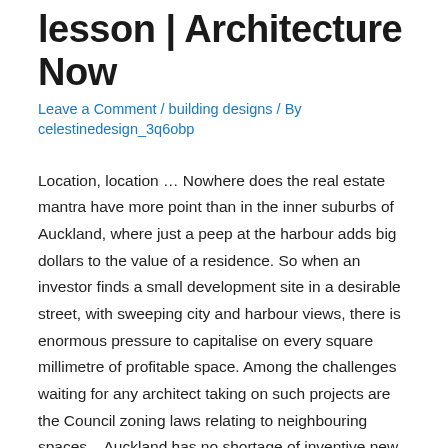lesson | Architecture Now
Leave a Comment / building designs / By celestinedesign_3q6obp
Location, location … Nowhere does the real estate mantra have more point than in the inner suburbs of Auckland, where just a peep at the harbour adds big dollars to the value of a residence. So when an investor finds a small development site in a desirable street, with sweeping city and harbour views, there is enormous pressure to capitalise on every square millimetre of profitable space. Among the challenges waiting for any architect taking on such projects are the Council zoning laws relating to neighbouring spaces – Auckland has no shortage of inventive new small-site building designs that have been shaped or contorted to appease the regulators.
This boutique block of apartments in Alberon Street, Parnell, was